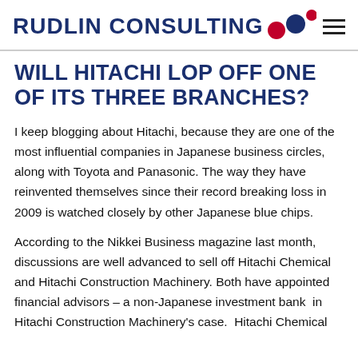RUDLIN CONSULTING
WILL HITACHI LOP OFF ONE OF ITS THREE BRANCHES?
I keep blogging about Hitachi, because they are one of the most influential companies in Japanese business circles, along with Toyota and Panasonic. The way they have reinvented themselves since their record breaking loss in 2009 is watched closely by other Japanese blue chips.
According to the Nikkei Business magazine last month, discussions are well advanced to sell off Hitachi Chemical and Hitachi Construction Machinery. Both have appointed financial advisors – a non-Japanese investment bank in Hitachi Construction Machinery's case. Hitachi Chemical